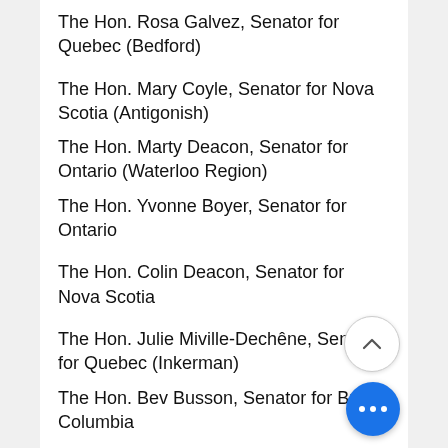The Hon. Rosa Galvez, Senator for Quebec (Bedford)
The Hon. Mary Coyle, Senator for Nova Scotia (Antigonish)
The Hon. Marty Deacon, Senator for Ontario (Waterloo Region)
The Hon. Yvonne Boyer, Senator for Ontario
The Hon. Colin Deacon, Senator for Nova Scotia
The Hon. Julie Miville-Dechêne, Senator for Quebec (Inkerman)
The Hon. Bev Busson, Senator for British Columbia
The Hon. Paula Simons, Senator for